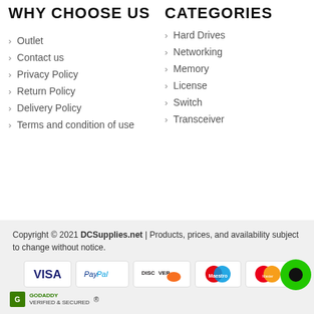WHY CHOOSE US
Outlet
Contact us
Privacy Policy
Return Policy
Delivery Policy
Terms and condition of use
CATEGORIES
Hard Drives
Networking
Memory
License
Switch
Transceiver
Copyright © 2021 DCSupplies.net | Products, prices, and availability subject to change without notice.
[Figure (other): Payment method logos: VISA, PayPal, DISCOVER, Maestro, MasterCard; GoDaddy Verified & Secured badge; chat bubble icon]